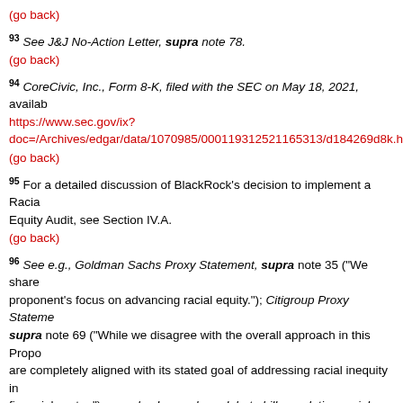(go back)
93 See J&J No-Action Letter, supra note 78.
(go back)
94 CoreCivic, Inc., Form 8-K, filed with the SEC on May 18, 2021, available at https://www.sec.gov/ix?doc=/Archives/edgar/data/1070985/000119312521165313/d184269d8k.h...
(go back)
95 For a detailed discussion of BlackRock's decision to implement a Racial Equity Audit, see Section IV.A.
(go back)
96 See e.g., Goldman Sachs Proxy Statement, supra note 35 ("We share the proponent's focus on advancing racial equity."); Citigroup Proxy Statement, supra note 69 ("While we disagree with the overall approach in this Proposal, are completely aligned with its stated goal of addressing racial inequity in the financial sector."); see also Lawmakers debate bill mandating racial equity audits at firms, The Hill, Abigail Goldberg-Zelizer, June 30, 2021, available at https://thehill.com/policy/finance/561026-lawmakers-debate-bill-mandating-racial-equity-audits-at-firms; Shareholders want to hold corporate giants accountable for their commitments to racial equity and justice. The banks are fighting back., Markets Insider, Marguerite Ward, April 7, 2021, available at https://markets.businessinsider.com/news/stocks/bank-leaders-buck...